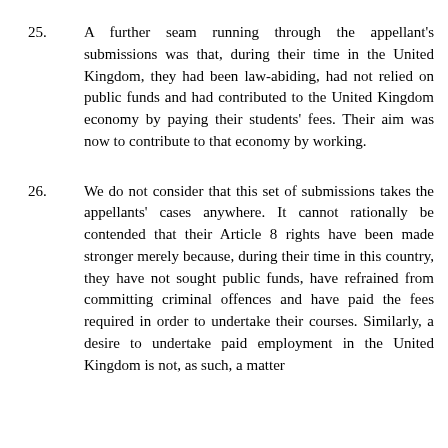25. A further seam running through the appellant's submissions was that, during their time in the United Kingdom, they had been law-abiding, had not relied on public funds and had contributed to the United Kingdom economy by paying their students' fees. Their aim was now to contribute to that economy by working.
26. We do not consider that this set of submissions takes the appellants' cases anywhere. It cannot rationally be contended that their Article 8 rights have been made stronger merely because, during their time in this country, they have not sought public funds, have refrained from committing criminal offences and have paid the fees required in order to undertake their courses. Similarly, a desire to undertake paid employment in the United Kingdom is not, as such, a matter